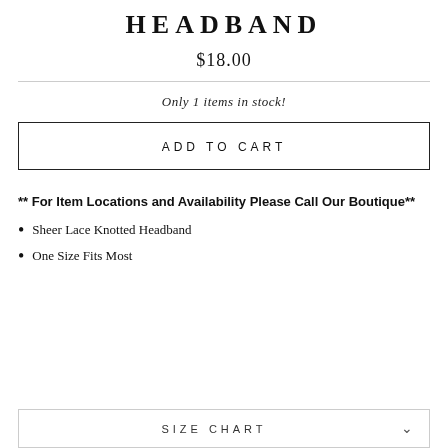HEADBAND
$18.00
Only 1 items in stock!
ADD TO CART
** For Item Locations and Availability Please Call Our Boutique**
Sheer Lace Knotted Headband
One Size Fits Most
SIZE CHART